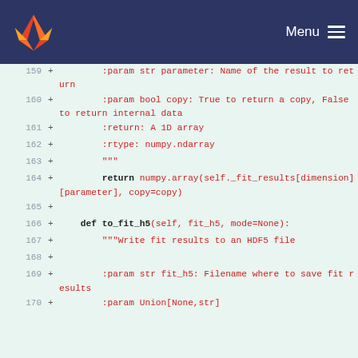GitLab Menu
[Figure (screenshot): Code diff view showing lines 159-170 of a Python file. Lines show docstring parameters and a method definition for to_fit_h5.]